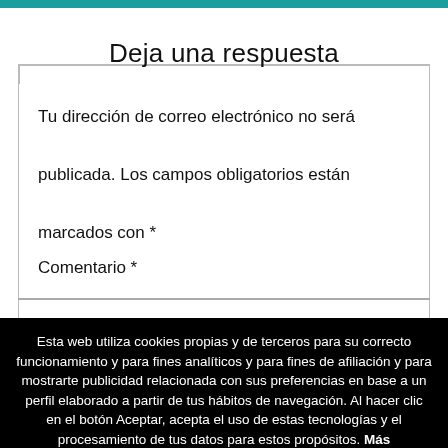Deja una respuesta
Tu dirección de correo electrónico no será publicada. Los campos obligatorios están marcados con *
Comentario *
Esta web utiliza cookies propias y de terceros para su correcto funcionamiento y para fines analíticos y para fines de afiliación y para mostrarte publicidad relacionada con sus preferencias en base a un perfil elaborado a partir de tus hábitos de navegación. Al hacer clic en el botón Aceptar, acepta el uso de estas tecnologías y el procesamiento de tus datos para estos propósitos. Más información